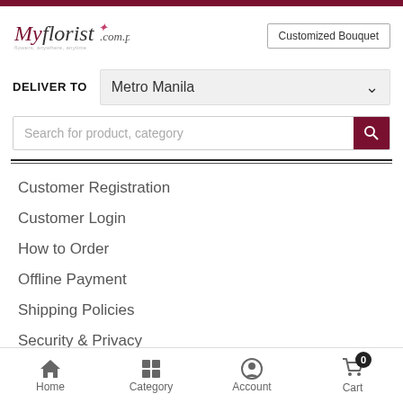[Figure (logo): MyFlorist.com.ph logo with pink star accent and tagline]
Customized Bouquet
DELIVER TO  Metro Manila
Search for product, category
Customer Registration
Customer Login
How to Order
Offline Payment
Shipping Policies
Security & Privacy
Terms & Conditions
Home  Category  Account  Cart  0